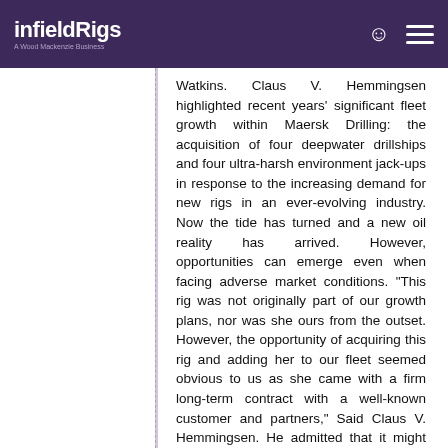infieldRigs — A Wood Mackenzie Business
Watkins. Claus V. Hemmingsen highlighted recent years' significant fleet growth within Maersk Drilling: the acquisition of four deepwater drillships and four ultra-harsh environment jack-ups in response to the increasing demand for new rigs in an ever-evolving industry. Now the tide has turned and a new oil reality has arrived. However, opportunities can emerge even when facing adverse market conditions. "This rig was not originally part of our growth plans, nor was she ours from the outset. However, the opportunity of acquiring this rig and adding her to our fleet seemed obvious to us as she came with a firm long-term contract with a well-known customer and partners," Said Claus V. Hemmingsen. He admitted that it might seem a difficult challenge to take in a brand new rig in the middle of a severe industry downturn. "But in the 40+ year history of Maersk Drilling, it is far from an unknown challenge to take a new, state-of-the-art piece of drilling equipment into operation." Said Claus V.